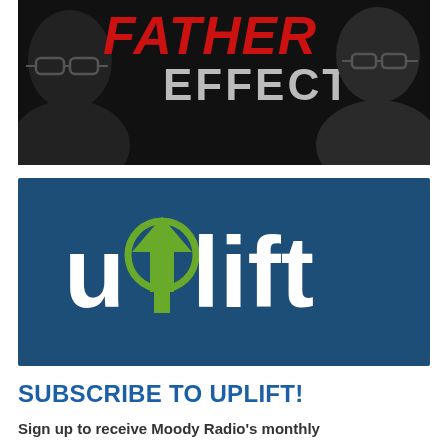[Figure (logo): The Father Effect Podcast banner with two men's faces in black and white, 'FATHER' in red italic text, 'EFFECT' in grey bold text, and a red 'PODCAST' badge]
[Figure (logo): Uplift logo on a dark blue background with the word 'uplift' in white bold lowercase letters, where the 'o' is replaced by an upward green arrow symbol]
SUBSCRIBE TO UPLIFT!
Sign up to receive Moody Radio's monthly